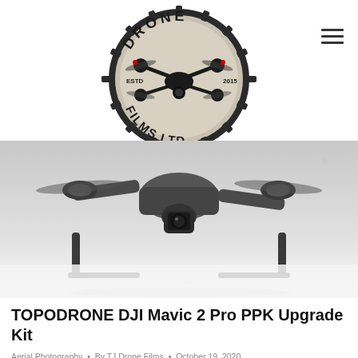[Figure (logo): Drone Films Ltd logo — gear-shaped circular badge with a drone (DJI Inspire) in the center, text reading DRONE at top, FILMS LTD at bottom, ESTD 2015 in middle]
[Figure (photo): Close-up photograph of a drone (likely DJI Mavic 2 Pro) from below on a white background, showing camera, landing gear, and body details]
TOPODRONE DJI Mavic 2 Pro PPK Upgrade Kit
Aerial Photography  •  By TJ Drone Films  •  October 19, 2020